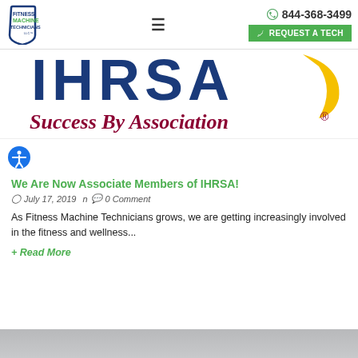Fitness Machine Technicians | 844-368-3499 | REQUEST A TECH
[Figure (logo): IHRSA logo with 'Success By Association®' tagline in dark red italic text on white background with blue and yellow brand elements]
[Figure (illustration): Blue circle accessibility icon (person with outstretched arms)]
We Are Now Associate Members of IHRSA!
July 17, 2019  0 Comment
As Fitness Machine Technicians grows, we are getting increasingly involved in the fitness and wellness...
+ Read More
[Figure (photo): Grey/cloudy outdoor photograph at the bottom of the page, partially visible]